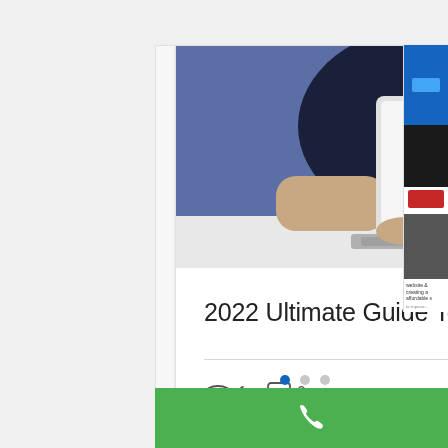[Figure (screenshot): Screenshot of a website showing a blog post card with a photo of a person typing on a laptop, titled '2022 Ultimate Guide To Google SEO', with view count (1), comment count (0), and a heart/like icon. Below the card are pagination dots and a green bottom navigation bar with phone and WhatsApp icons.]
2022 Ultimate Guide To Google SEO